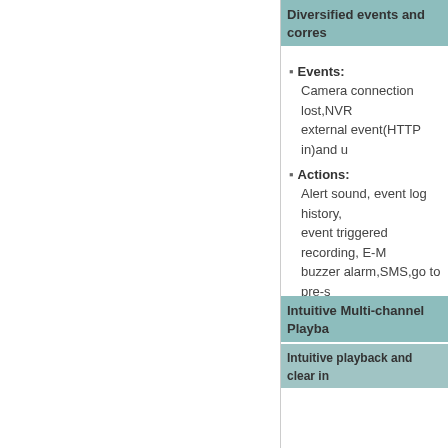Diversified events and corres
Events: Camera connection lost,NVR external event(HTTP in)and u
Actions: Alert sound, event log history, event triggered recording, E-M buzzer alarm,SMS,go to pre-s and Built-in digital output
Intuitive Multi-channel Playba
Intuitive playback and clear in